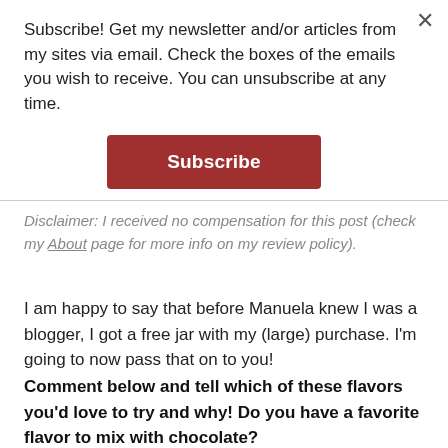Subscribe! Get my newsletter and/or articles from my sites via email. Check the boxes of the emails you wish to receive. You can unsubscribe at any time.
[Figure (other): Subscribe button — red/dark-red rectangular button with white bold text 'Subscribe']
Disclaimer: I received no compensation for this post (check my About page for more info on my review policy).
I am happy to say that before Manuela knew I was a blogger, I got a free jar with my (large) purchase. I'm going to now pass that on to you!
Comment below and tell which of these flavors you'd love to try and why! Do you have a favorite flavor to mix with chocolate?